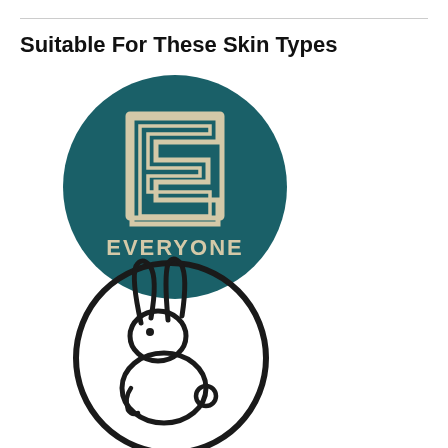Suitable For These Skin Types
[Figure (logo): Circular dark teal badge with a stylized letter E outline and the word EVERYONE below it in white capital letters]
[Figure (logo): Circular outline badge with a cruelty-free bunny rabbit illustration inside]